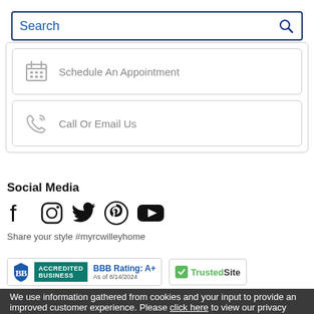[Figure (screenshot): Search bar with magnifying glass icon]
Schedule An Appointment
Call Or Email Us
Social Media
[Figure (infographic): Social media icons: Facebook, Instagram, Twitter, Pinterest, YouTube]
Share your style #myrcwilleyhome
[Figure (logo): BBB Accredited logo with BBB Rating: A+]
[Figure (logo): TrustedSite logo]
Privacy Notification
We use information gathered from cookies and your input to provide an improved customer experience. Please click here to view our privacy policy and adjust privacy settings.